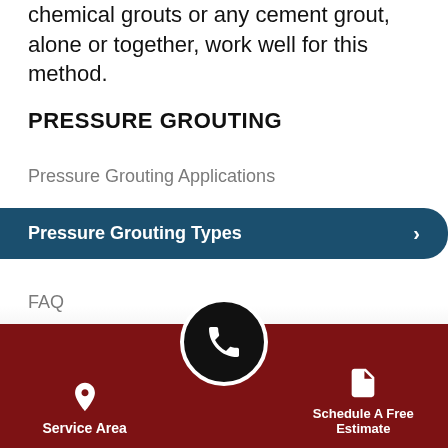chemical grouts or any cement grout, alone or together, work well for this method.
PRESSURE GROUTING
Pressure Grouting Applications
Pressure Grouting Types
FAQ
Case Studies
Photo Gallery
Service Area | Schedule A Free Estimate